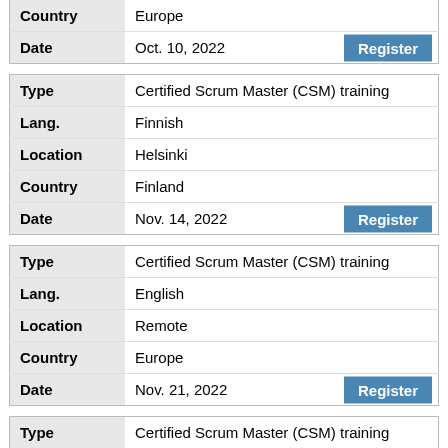| Country | Date |
| --- | --- |
| Country | Europe |
| Date | Oct. 10, 2022 |
| Type | Certified Scrum Master (CSM) training |
| Lang. | Finnish |
| Location | Helsinki |
| Country | Finland |
| Date | Nov. 14, 2022 |
| Type | Certified Scrum Master (CSM) training |
| Lang. | English |
| Location | Remote |
| Country | Europe |
| Date | Nov. 21, 2022 |
| Type | Certified Scrum Master (CSM) training |
| Lang. | English (trainer also speaks Finnish) |